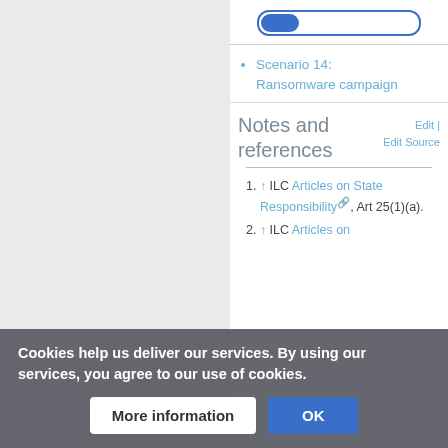[Figure (other): Progress bar with blue filled left portion, white background, blue outline, on white area at top right]
Scenario 14: Ransomware campaign
Notes and references
1. ↑ ILC Articles on State Responsibility, Art 25(1)(a).
2. ↑ ILC Articles on State Responsibility, Art 25(1)(b).
3. ↑ ILC Articles on
Cookies help us deliver our services. By using our services, you agree to our use of cookies.
More information | OK